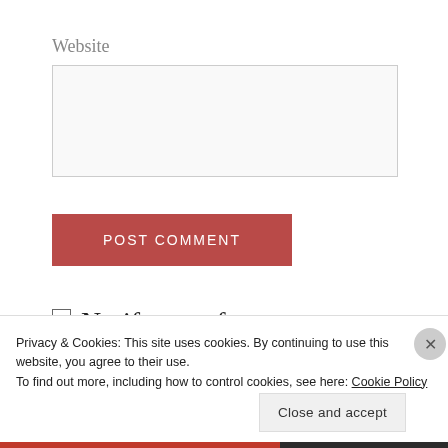Website
[Figure (other): Empty text input field for website URL]
[Figure (other): POST COMMENT button — red/mauve background with white uppercase text]
Notify me of new comments via email.
Privacy & Cookies: This site uses cookies. By continuing to use this website, you agree to their use.
To find out more, including how to control cookies, see here: Cookie Policy
Close and accept